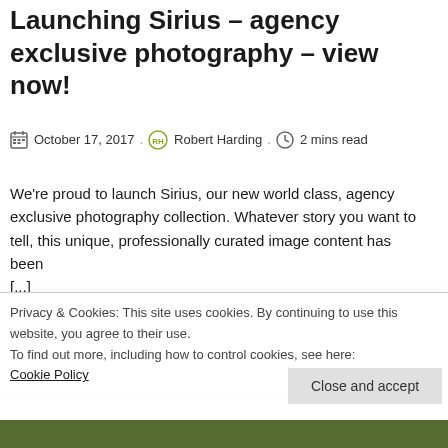Launching Sirius – agency exclusive photography – view now!
October 17, 2017 . Robert Harding . 2 mins read
We're proud to launch Sirius, our new world class, agency exclusive photography collection. Whatever story you want to tell, this unique, professionally curated image content has been [...]
Privacy & Cookies: This site uses cookies. By continuing to use this website, you agree to their use.
To find out more, including how to control cookies, see here:
Cookie Policy
Close and accept